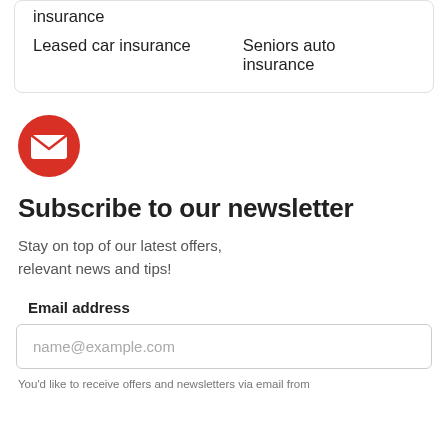insurance
Leased car insurance
Seniors auto insurance
[Figure (illustration): Red circle with white envelope/mail icon]
Subscribe to our newsletter
Stay on top of our latest offers, relevant news and tips!
Email address
name@example.com
You'd like to receive offers and newsletters via email from